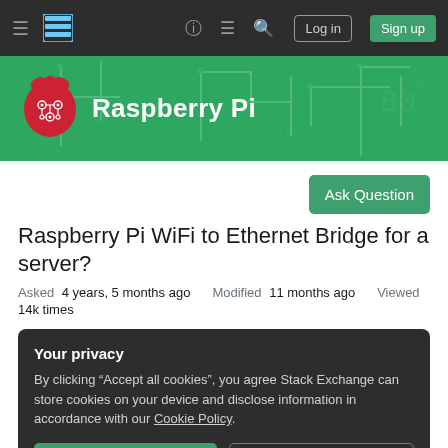Navigation bar with hamburger menu, Raspberry Pi Stack Exchange logo, help, chat, search icons, Log in and Sign up buttons
[Figure (logo): Raspberry Pi Stack Exchange banner with Raspberry Pi logo (red circuit-board raspberry) and white bold text 'Raspberry Pi' on green background with circuit-board pattern overlay]
Ask Question
Raspberry Pi WiFi to Ethernet Bridge for a server?
Asked 4 years, 5 months ago   Modified 11 months ago   Viewed 14k times
Your privacy
By clicking "Accept all cookies", you agree Stack Exchange can store cookies on your device and disclose information in accordance with our Cookie Policy.
Accept all cookies   Customize settings
can't access the dashboard of it or mount to my